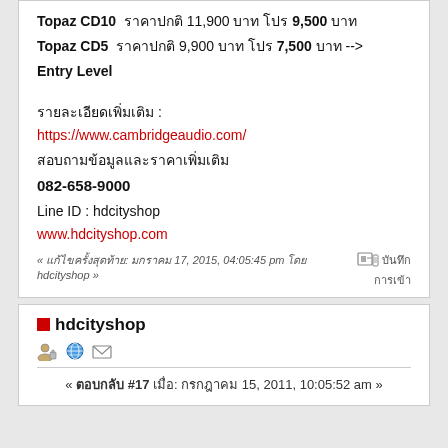Topaz CD10  ราคาปกติ 11,900 บาท โปร 9,500 บาท
Topaz CD5  ราคาปกติ 9,900 บาท โปร 7,500 บาท -->
Entry Level
รายละเอียดเพิ่มเติม :
https://www.cambridgeaudio.com/
สอบถามข้อมูลและราคาเพิ่มเติม
082-658-9000
Line ID : hdcityshop
www.hdcityshop.com
« แก้ไขครั้งสุดท้าย: มกราคม 17, 2015, 04:05:45 pm โดย hdcityshop »
hdcityshop
« ตอบกลับ #17 เมื่อ: กรกฎาคม 15, 2011, 10:05:52 am »